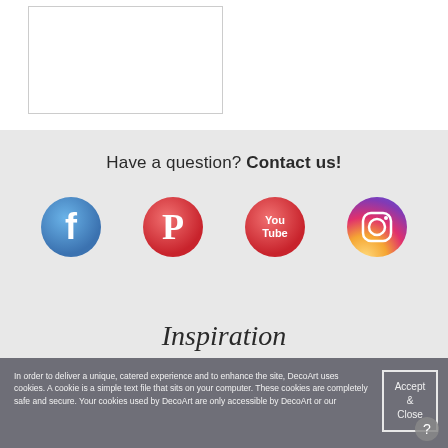[Figure (photo): White rectangle image placeholder with border]
Have a question? Contact us!
[Figure (infographic): Four social media icons: Facebook (blue circle), Pinterest (red circle), YouTube (red circle), Instagram (gradient circle)]
Inspiration
In order to deliver a unique, catered experience and to enhance the site, DecoArt uses cookies. A cookie is a simple text file that sits on your computer. These cookies are completely safe and secure. Your cookies used by DecoArt are only accessible by DecoArt or our
Accept & Close